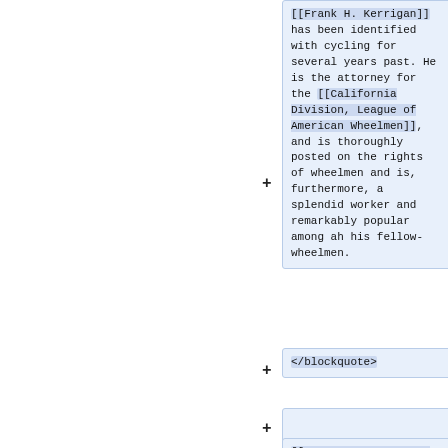[[Frank H. Kerrigan]] has been identified with cycling for several years past. He is the attorney for the [[California Division, League of American Wheelmen]], and is thoroughly posted on the rights of wheelmen and is, furthermore, a splendid worker and remarkably popular among ah his fellow-wheelmen.
</blockquote>
[[THE SPEEDY CYCLERS. - Coast Records Sure